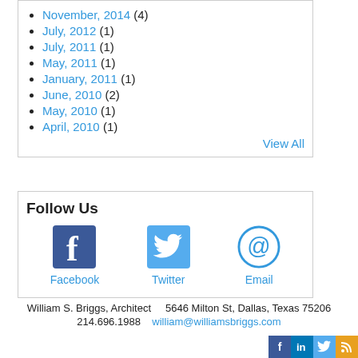November, 2014 (4)
July, 2012 (1)
July, 2011 (1)
May, 2011 (1)
January, 2011 (1)
June, 2010 (2)
May, 2010 (1)
April, 2010 (1)
View All
Follow Us
[Figure (infographic): Social media icons for Facebook, Twitter, and Email with labels below each icon]
William S. Briggs, Architect    5646 Milton St, Dallas, Texas 75206    214.696.1988    william@williamsbriggs.com